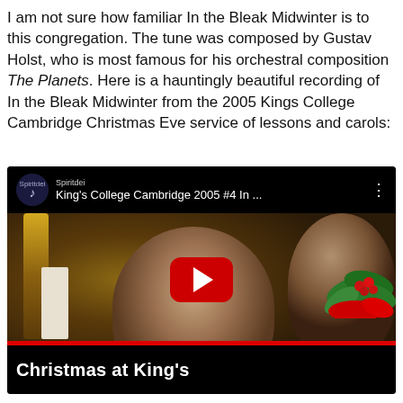I am not sure how familiar In the Bleak Midwinter is to this congregation. The tune was composed by Gustav Holst, who is most famous for his orchestral composition The Planets. Here is a hauntingly beautiful recording of In the Bleak Midwinter from the 2005 Kings College Cambridge Christmas Eve service of lessons and carols:
[Figure (screenshot): YouTube video embed showing King's College Cambridge 2005 #4 In ... with choir boys visible in background, red YouTube play button in center, Christmas at King's text and holly decoration at bottom]